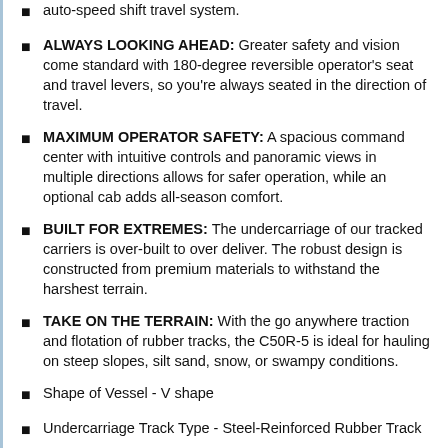auto-speed shift travel system.
ALWAYS LOOKING AHEAD: Greater safety and vision come standard with 180-degree reversible operator’s seat and travel levers, so you’re always seated in the direction of travel.
MAXIMUM OPERATOR SAFETY: A spacious command center with intuitive controls and panoramic views in multiple directions allows for safer operation, while an optional cab adds all-season comfort.
BUILT FOR EXTREMES: The undercarriage of our tracked carriers is over-built to over deliver. The robust design is constructed from premium materials to withstand the harshest terrain.
TAKE ON THE TERRAIN: With the go anywhere traction and flotation of rubber tracks, the C50R-5 is ideal for hauling on steep slopes, silt sand, snow, or swampy conditions.
Shape of Vessel - V shape
Undercarriage Track Type - Steel-Reinforced Rubber Track